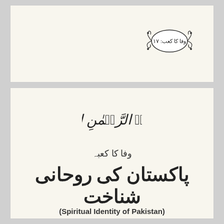[Figure (illustration): Top panel showing a decorative oval stamp/seal with Urdu text reading: وفا کا کعب: ۱۷]
[Figure (illustration): Bismillah calligraphy in Arabic script]
وفا کا کعبہ
پاکستان کی روحانی شناخت
(Spiritual Identity of Pakistan)
کاروان ملت کا آ پہنچا زمین پاک پر